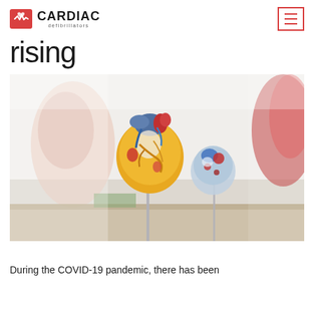CARDIAC defibrillators
rising
[Figure (photo): Anatomical heart models on display stands in a medical or educational setting, with colorful detailed models showing cardiac anatomy including red, blue, yellow and white structures]
During the COVID-19 pandemic, there has been